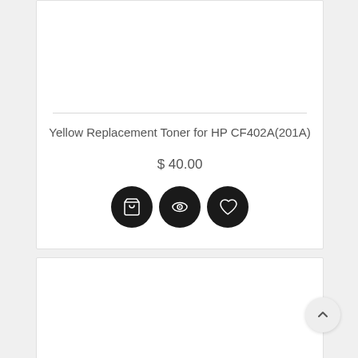Yellow Replacement Toner for HP CF402A(201A)
$ 40.00
[Figure (screenshot): Three dark circular action buttons: shopping cart, eye/view, and heart/wishlist icons]
[Figure (screenshot): Second product card (partially visible), with a scroll-to-top circular button in the lower right]